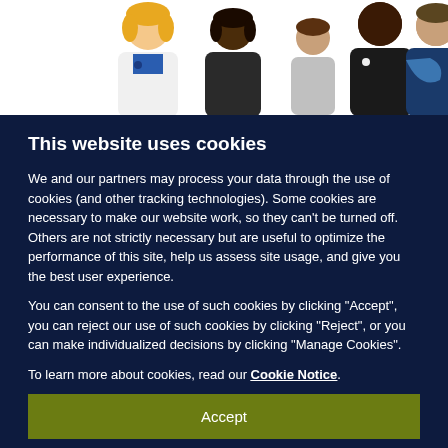[Figure (illustration): Cartoon illustration showing five diverse human figures (avatars) — a blonde woman, a dark-skinned woman, a child, a dark-skinned man in a black shirt, and a man with arm in sling — visible from the waist up against a white background.]
This website uses cookies
We and our partners may process your data through the use of cookies (and other tracking technologies). Some cookies are necessary to make our website work, so they can't be turned off. Others are not strictly necessary but are useful to optimize the performance of this site, help us assess site usage, and give you the best user experience.
You can consent to the use of such cookies by clicking "Accept", you can reject our use of such cookies by clicking "Reject", or you can make individualized decisions by clicking "Manage Cookies".
To learn more about cookies, read our Cookie Notice.
Accept
Manage Cookies
Reject